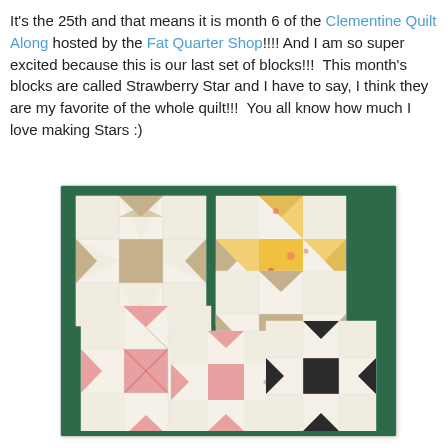It's the 25th and that means it is month 6 of the Clementine Quilt Along hosted by the Fat Quarter Shop!!!! And I am so super excited because this is our last set of blocks!!!  This month's blocks are called Strawberry Star and I have to say, I think they are my favorite of the whole quilt!!!  You all know how much I love making Stars :)
[Figure (photo): Photo of four Strawberry Star quilt blocks arranged on a green cutting mat. The blocks feature star patterns in various fabric colors: tan/beige dotted fabric, yellow floral fabric, pink gingham fabric, and black and white fabric, all with white background fabric.]